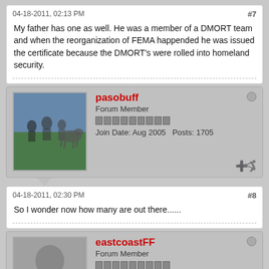04-18-2011, 02:13 PM   #7
My father has one as well. He was a member of a DMORT team and when the reorganization of FEMA happended he was issued the certificate because the DMORT's were rolled into homeland security.
pasobuff
Forum Member
Join Date: Aug 2005   Posts: 1705
04-18-2011, 02:30 PM   #8
So I wonder now how many are out there......
eastcoastFF
Forum Member
Join Date: Jun 2007   Posts: 107